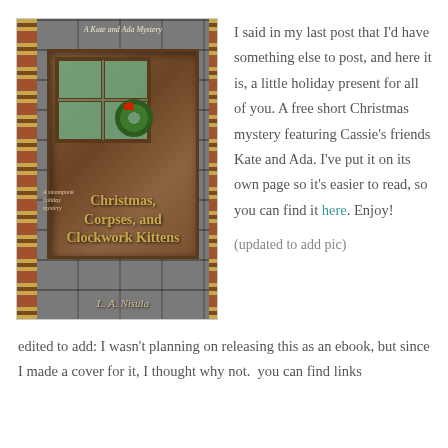[Figure (illustration): Book cover for 'Christmas, Corpses, and Clockwork Kittens' by L. A. Nisula. A Kate and Ada Mystery. Features a wooden door with wreath, stone wall background, decorative border strips.]
I said in my last post that I'd have something else to post, and here it is, a little holiday present for all of you. A free short Christmas mystery featuring Cassie's friends Kate and Ada. I've put it on its own page so it's easier to read, so you can find it here. Enjoy!
(updated to add pic)
edited to add: I wasn't planning on releasing this as an ebook, but since I made a cover for it, I thought why not.  you can find links